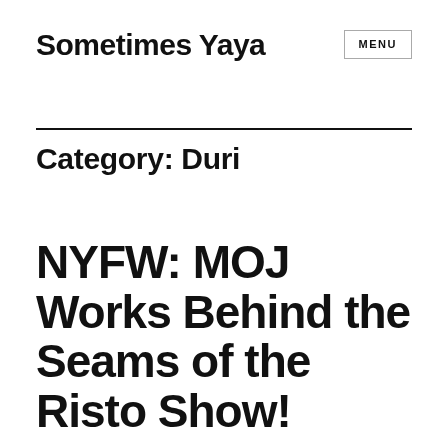Sometimes Yaya
Category: Duri
NYFW: MOJ Works Behind the Seams of the Risto Show!